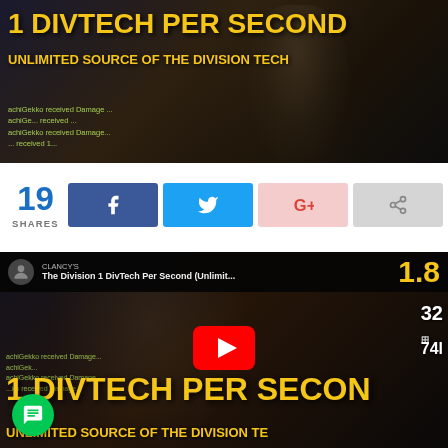[Figure (screenshot): Thumbnail image for The Division video: '1 DivTech Per Second - Unlimited Source of the Division Tech' with armored character]
19 SHARES
[Figure (screenshot): Social share buttons: Facebook, Twitter, Google+, and generic share button]
[Figure (screenshot): YouTube video embed thumbnail: 'The Division 1 DivTech Per Second (Unlimit...' with play button, armored character, '1 DIVTECH PER SECOND' and 'UNLIMITED SOURCE OF THE DIVISION TECH' text overlay]